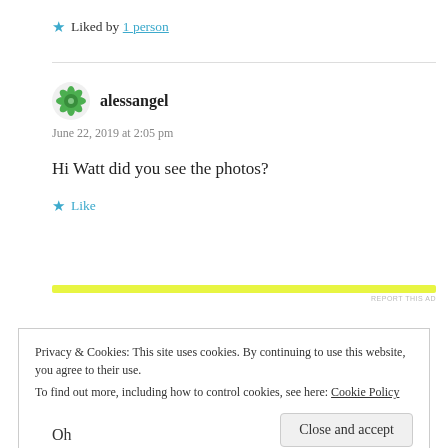★ Liked by 1 person
alessangel
June 22, 2019 at 2:05 pm
Hi Watt did you see the photos?
★ Like
[Figure (other): Yellow advertisement bar with 'REPORT THIS AD' text]
Privacy & Cookies: This site uses cookies. By continuing to use this website, you agree to their use.
To find out more, including how to control cookies, see here: Cookie Policy
Close and accept
Oh